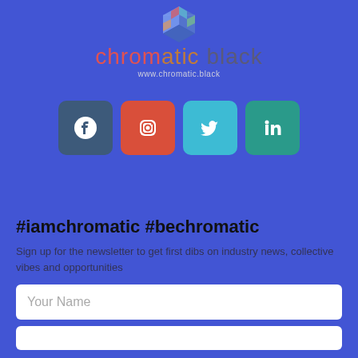[Figure (logo): Chromatic Black isometric building/city logo icon at top center]
chromatic black
www.chromatic.black
[Figure (infographic): Row of four social media icon buttons: Facebook (dark blue), Instagram (red), Twitter (light blue), LinkedIn (teal)]
#iamchromatic #bechromatic
Sign up for the newsletter to get first dibs on industry news, collective vibes and opportunities
Your Name